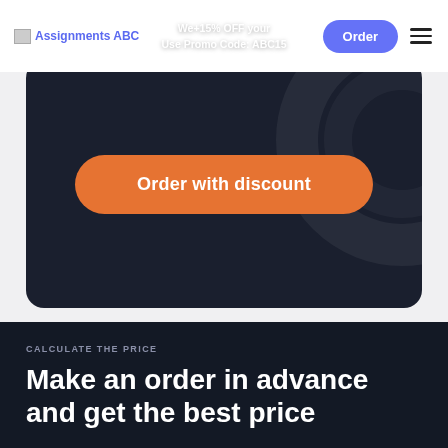Assignments ABC | We+15% OFF your order Use Promo Code: ABC15 | Order
[Figure (screenshot): Dark navy rounded banner with orange 'Order with discount' button and decorative circular arc graphic on the right]
Order with discount
CALCULATE THE PRICE
Make an order in advance and get the best price